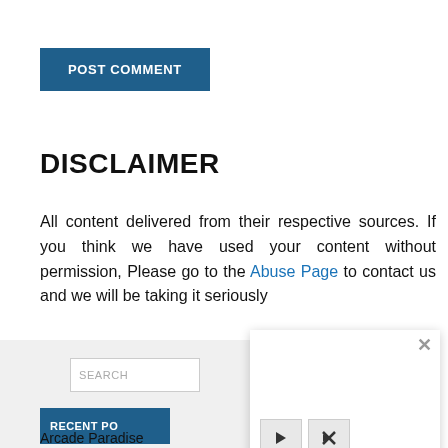[Figure (screenshot): POST COMMENT button — a blue rectangular button with white bold uppercase text reading 'POST COMMENT']
DISCLAIMER
All content delivered from their respective sources. If you think we have used your content without permission, Please go to the Abuse Page to contact us and we will be taking it seriously
[Figure (screenshot): Website screenshot showing a sidebar with a search box, a 'RECENT PO...' blue header button, 'Arcade Paradise...' text, and a white popup overlay with a close X button and media control buttons (play and mute).]